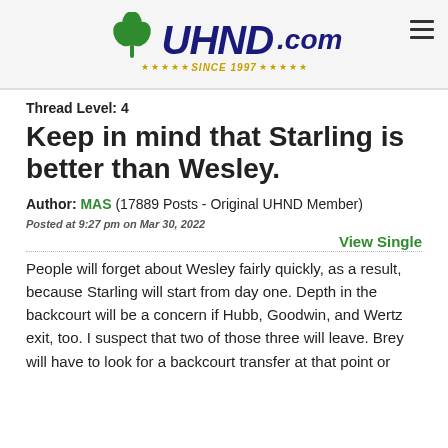[Figure (logo): UHND.com logo with green shamrock, bold navy italic text 'UHND.com', and gold stars with 'SINCE 1997' tagline]
Thread Level: 4
Keep in mind that Starling is better than Wesley.
Author: MAS (17889 Posts - Original UHND Member)
Posted at 9:27 pm on Mar 30, 2022
View Single
People will forget about Wesley fairly quickly, as a result, because Starling will start from day one. Depth in the backcourt will be a concern if Hubb, Goodwin, and Wertz exit, too. I suspect that two of those three will leave. Brey will have to look for a backcourt transfer at that point or